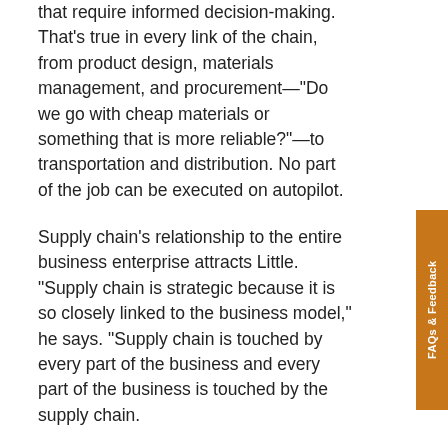that require informed decision-making. That's true in every link of the chain, from product design, materials management, and procurement—"Do we go with cheap materials or something that is more reliable?"—to transportation and distribution. No part of the job can be executed on autopilot.
Supply chain's relationship to the entire business enterprise attracts Little. "Supply chain is strategic because it is so closely linked to the business model," he says. "Supply chain is touched by every part of the business and every part of the business is touched by the supply chain.
"The good thing about supply chain management," he says, "is that no two days are ever the same, and you don't know what tomorrow will bring."
MYTH 2: YOU NEED AN ENGINEERING